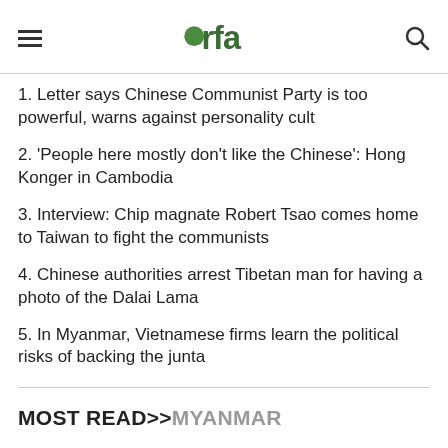RFA
1. Letter says Chinese Communist Party is too powerful, warns against personality cult
2. 'People here mostly don't like the Chinese': Hong Konger in Cambodia
3. Interview: Chip magnate Robert Tsao comes home to Taiwan to fight the communists
4. Chinese authorities arrest Tibetan man for having a photo of the Dalai Lama
5. In Myanmar, Vietnamese firms learn the political risks of backing the junta
MOST READ>>MYANMAR